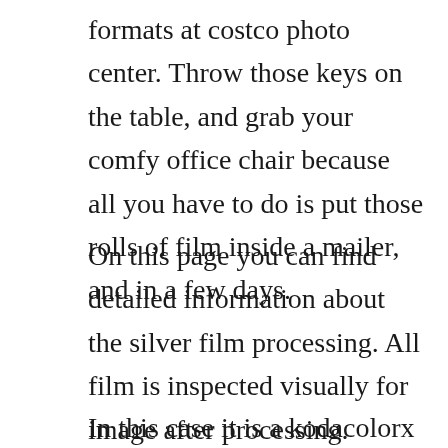formats at costco photo center. Throw those keys on the table, and grab your comfy office chair because all you have to do is put those rolls of film inside a mailer, and in a few days.
On this page you can find detailed information about the silver film processing. All film is inspected visually for image after processing. Please note, color film manufactured before 1973 is designed for process c22. Color c41, black and white bw, slidese6, 4x5 sheets, 8x10 sheet.
In this case it is a kodacolorx roll film from